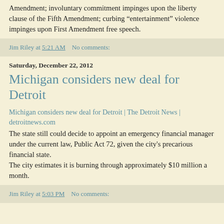Amendment; involuntary commitment impinges upon the liberty clause of the Fifth Amendment; curbing “entertainment” violence impinges upon First Amendment free speech.
Jim Riley at 5:21 AM    No comments:
Saturday, December 22, 2012
Michigan considers new deal for Detroit
Michigan considers new deal for Detroit | The Detroit News | detroitnews.com
The state still could decide to appoint an emergency financial manager under the current law, Public Act 72, given the city's precarious financial state.
The city estimates it is burning through approximately $10 million a month.
Jim Riley at 5:03 PM    No comments: